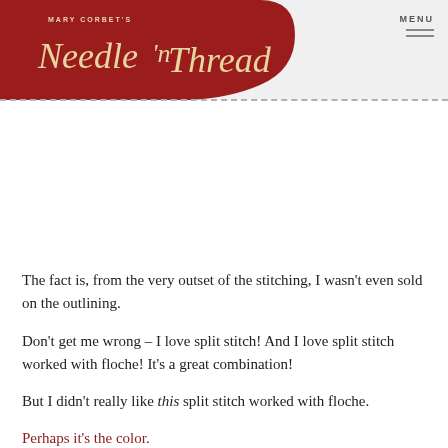Mary Corbet's Needle 'n Thread
The fact is, from the very outset of the stitching, I wasn't even sold on the outlining.
Don't get me wrong – I love split stitch! And I love split stitch worked with floche! It's a great combination!
But I didn't really like this split stitch worked with floche.
Perhaps it's the color.